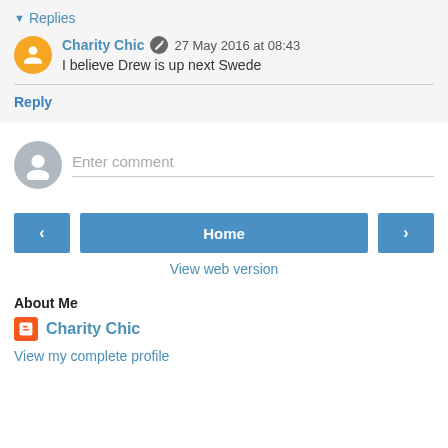Replies
Charity Chic  27 May 2016 at 08:43
I believe Drew is up next Swede
Reply
Enter comment
Home
View web version
About Me
Charity Chic
View my complete profile